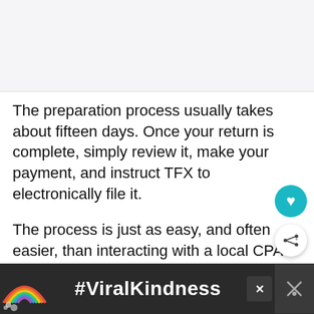[Figure (photo): Top image area, light gray background, partial screenshot of a webpage header]
The preparation process usually takes about fifteen days. Once your return is complete, simply review it, make your payment, and instruct TFX to electronically file it.
The process is just as easy, and often easier, than interacting with a local CPA for domestic taxes.
[Figure (screenshot): Advertisement banner at the bottom: dark background with a rainbow illustration and #ViralKindness text in white]